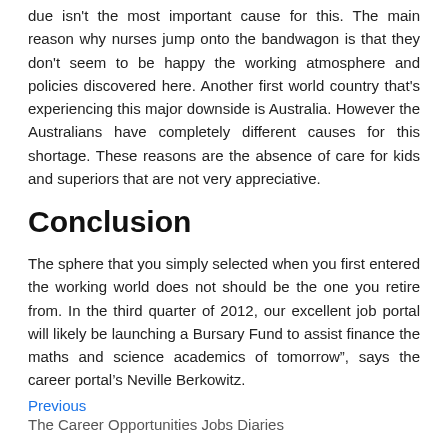due isn't the most important cause for this. The main reason why nurses jump onto the bandwagon is that they don't seem to be happy the working atmosphere and policies discovered here. Another first world country that's experiencing this major downside is Australia. However the Australians have completely different causes for this shortage. These reasons are the absence of care for kids and superiors that are not very appreciative.
Conclusion
The sphere that you simply selected when you first entered the working world does not should be the one you retire from. In the third quarter of 2012, our excellent job portal will likely be launching a Bursary Fund to assist finance the maths and science academics of tomorrow", says the career portal's Neville Berkowitz.
Previous
The Career Opportunities Jobs Diaries